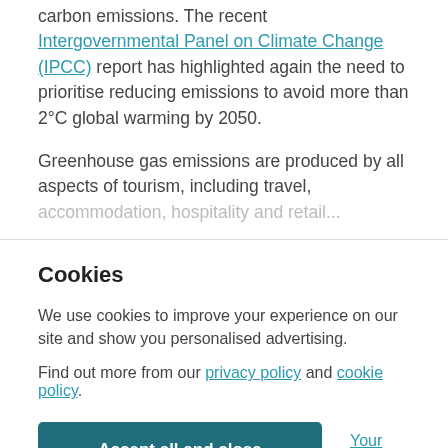carbon emissions. The recent Intergovernmental Panel on Climate Change (IPCC) report has highlighted again the need to prioritise reducing emissions to avoid more than 2°C global warming by 2050.
Greenhouse gas emissions are produced by all aspects of tourism, including travel, accommodation, hospitality and retail...
Cookies
We use cookies to improve your experience on our site and show you personalised advertising.
Find out more from our privacy policy and cookie policy.